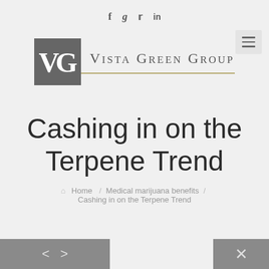f  g  twitter  in
[Figure (logo): Vista Green Group logo with VG monogram in gray square and company name in serif small-caps font]
Cashing in on the Terpene Trend
Home / Medical marijuana benefits / Cashing in on the Terpene Trend